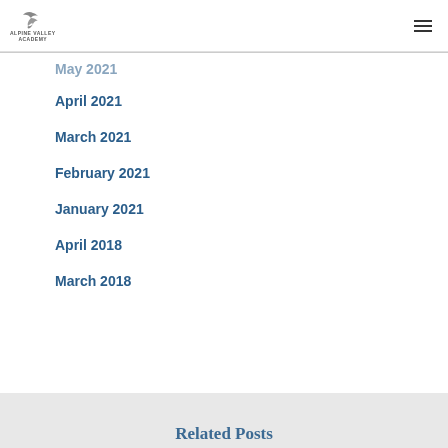ALPINE VALLEY ACADEMY
May 2021
April 2021
March 2021
February 2021
January 2021
April 2018
March 2018
Related Posts